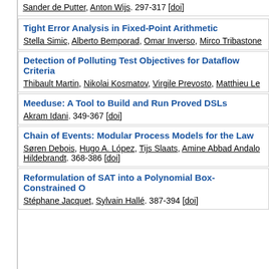Sander de Putter, Anton Wijs. 297-317 [doi]
Tight Error Analysis in Fixed-Point Arithmetic
Stella Simic, Alberto Bemporad, Omar Inverso, Mirco Tribastone
Detection of Polluting Test Objectives for Dataflow Criteria
Thibault Martin, Nikolai Kosmatov, Virgile Prevosto, Matthieu Le
Meeduse: A Tool to Build and Run Proved DSLs
Akram Idani. 349-367 [doi]
Chain of Events: Modular Process Models for the Law
Søren Debois, Hugo A. López, Tijs Slaats, Amine Abbad Andalo Hildebrandt. 368-386 [doi]
Reformulation of SAT into a Polynomial Box-Constrained O
Stéphane Jacquet, Sylvain Hallé. 387-394 [doi]